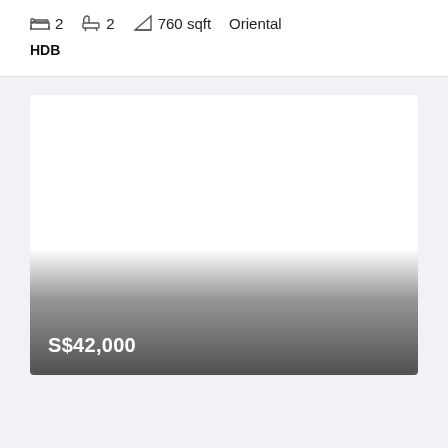2  2  760 sqft  Oriental
HDB
[Figure (photo): Property listing image placeholder showing a white/grey gradient with price overlay S$42,000 at the bottom left]
S$42,000